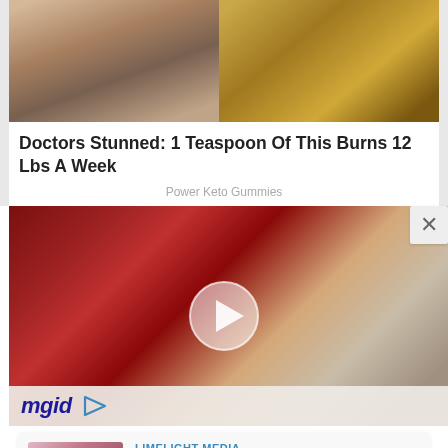[Figure (photo): Split image: left side shows muscular torso of a person, right side shows a textured yellow/golden food item on dark background]
Doctors Stunned: 1 Teaspoon Of This Burns 12 Lbs A Week
Power Keto Gummies
[Figure (photo): Video thumbnail showing red gelatin/gummy food items on a plate with a play button overlay. mgid logo bar at bottom.]
[Figure (photo): Recommendation thumbnail: woman in pink clothing posing]
LIMELIGHT MEDIA
People Know Her As Lil Wayne's Ex Girlfriend But Who She Is?
[Figure (photo): Partial bottom image showing green background with circular elements]